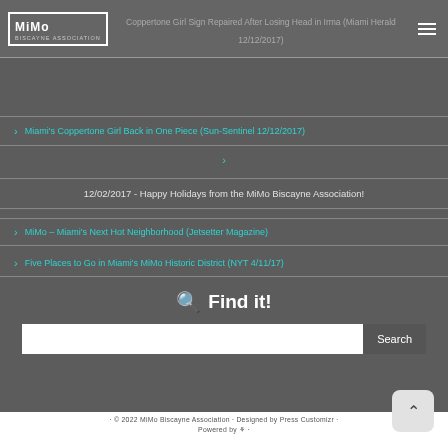MiMo Biscayne Association - Coppertone Girl Sign Repaired After Losing Head in Irma (Miami Herald 12/12/2017)
Miami's Coppertone Girl Back in One Piece (Sun-Sentinel 12/12/2017)
12/02/2017 - Happy Holidays from the MiMo Biscayne Association!
MiMo – Miami's Next Hot Neighborhood (Jetsetter Magazine)
Five Places to Go in Miami's MiMo Historic District (NYT 4/11/17)
Find it!
· © 2022 MiMo Biscayne Association · Designed by Press Customizr · Powered by WordPress ·